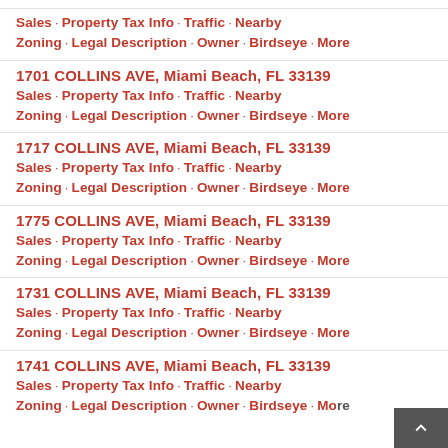Sales · Property Tax Info · Traffic · Nearby Zoning · Legal Description · Owner · Birdseye · More
1701 COLLINS AVE, Miami Beach, FL 33139
Sales · Property Tax Info · Traffic · Nearby Zoning · Legal Description · Owner · Birdseye · More
1717 COLLINS AVE, Miami Beach, FL 33139
Sales · Property Tax Info · Traffic · Nearby Zoning · Legal Description · Owner · Birdseye · More
1775 COLLINS AVE, Miami Beach, FL 33139
Sales · Property Tax Info · Traffic · Nearby Zoning · Legal Description · Owner · Birdseye · More
1731 COLLINS AVE, Miami Beach, FL 33139
Sales · Property Tax Info · Traffic · Nearby Zoning · Legal Description · Owner · Birdseye · More
1741 COLLINS AVE, Miami Beach, FL 33139
Sales · Property Tax Info · Traffic · Nearby Zoning · Legal Description · Owner · Birdseye · More